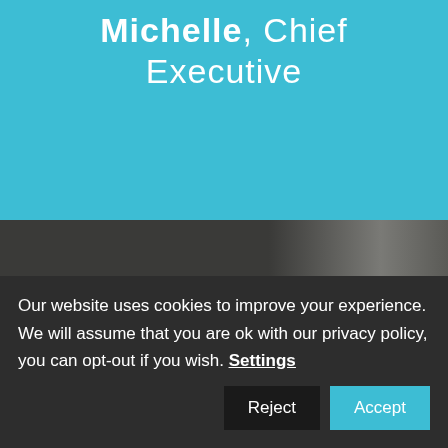Michelle, Chief Executive
[Figure (photo): Dark background photo area, partially showing a person, blurred/dark]
Our website uses cookies to improve your experience. We will assume that you are ok with our privacy policy, you can opt-out if you wish. Settings  Reject  Accept